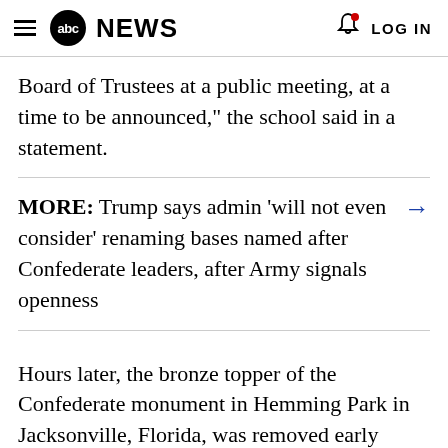abc NEWS  LOG IN
Board of Trustees at a public meeting, at a time to be announced," the school said in a statement.
MORE: Trump says admin 'will not even consider' renaming bases named after Confederate leaders, after Army signals openness
Hours later, the bronze topper of the Confederate monument in Hemming Park in Jacksonville, Florida, was removed early Tuesday morning. Around 4 a.m., without